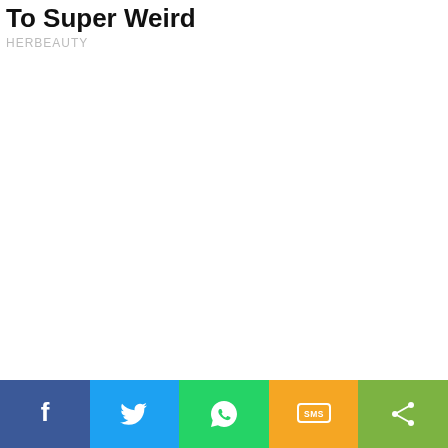To Super Weird
HERBEAUTY
[Figure (infographic): Social share bar with five buttons: Facebook (blue), Twitter (light blue), WhatsApp (green), SMS (yellow/orange), and Share (green). Each button has a white icon.]